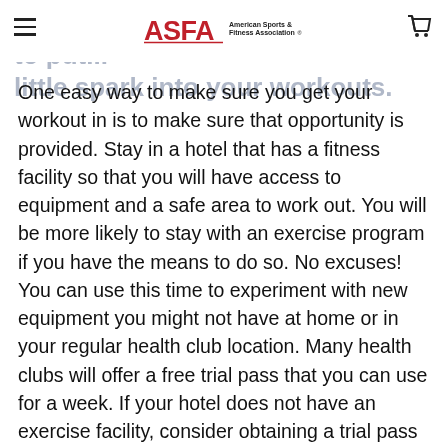ASFA American Sports & Fitness Association
One easy way to make sure you get your workout in is to make sure that opportunity is provided. Stay in a hotel that has a fitness facility so that you will have access to equipment and a safe area to work out. You will be more likely to stay with an exercise program if you have the means to do so. No excuses! You can use this time to experiment with new equipment you might not have at home or in your regular health club location. Many health clubs will offer a free trial pass that you can use for a week. If your hotel does not have an exercise facility, consider obtaining a trial pass to any of the local health clubs so you can take advantage of the amenities and get your workout